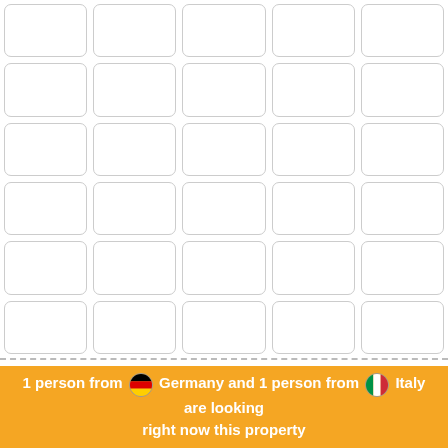[Figure (other): A 5x6 grid of empty white rounded-corner cards/thumbnails]
1 person from 🇩🇪 Germany and 1 person from 🇮🇹 Italy are looking right now this property